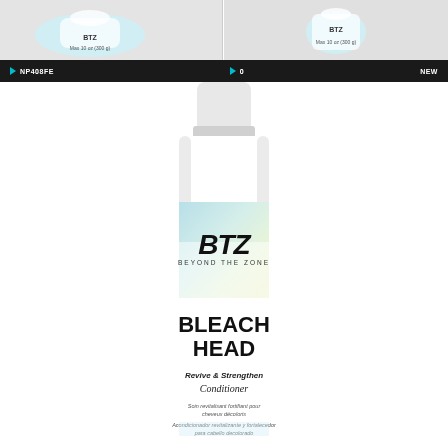[Figure (photo): Thumbnail image of BTZ Beyond the Zone hair product (left), partial view]
[Figure (photo): Thumbnail image of BTZ Beyond the Zone hair product (right), partial view]
NP408FE   ► 0   NEW
[Figure (photo): BTZ Beyond the Zone Bleach Head Revive & Strengthen Conditioner bottle, white with teal/blue and light blue label design. Label text reads: BTZ BEYOND THE ZONE, BLEACH HEAD, HEAD, Revive & Strengthen Conditioner, Soin revitalisant fortifiant pour cheveux décoloris, Acondicionador revitalizante y fortalecedor para cabello decolorado, Revival & reparation of bleached or color-treated hair]